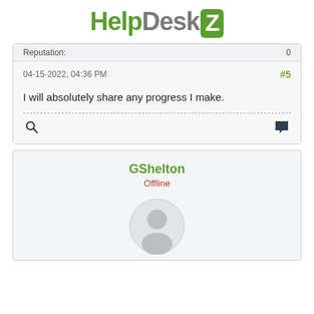HelpDeskZ
Reputation: 0
04-15-2022, 04:36 PM  #5
I will absolutely share any progress I make.
GShelton
Offline